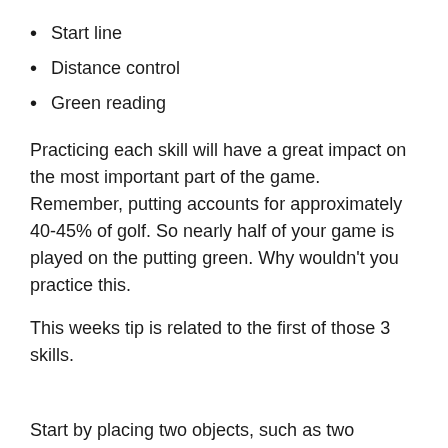Start line
Distance control
Green reading
Practicing each skill will have a great impact on the most important part of the game. Remember, putting accounts for approximately 40-45% of golf. So nearly half of your game is played on the putting green. Why wouldn't you practice this.
This weeks tip is related to the first of those 3 skills.
Start by placing two objects, such as two sleeves of golf balls either side of your putter head, as seen in the picture.